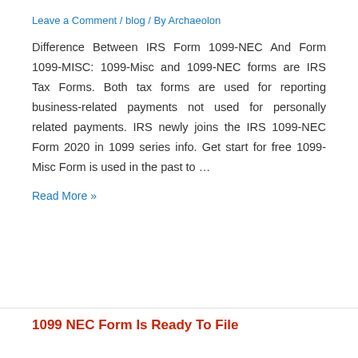Leave a Comment / blog / By Archaecolon
Difference Between IRS Form 1099-NEC And Form 1099-MISC: 1099-Misc and 1099-NEC forms are IRS Tax Forms. Both tax forms are used for reporting business-related payments not used for personally related payments. IRS newly joins the IRS 1099-NEC Form 2020 in 1099 series info. Get start for free 1099-Misc Form is used in the past to …
Read More »
1099 NEC Form Is Ready To File